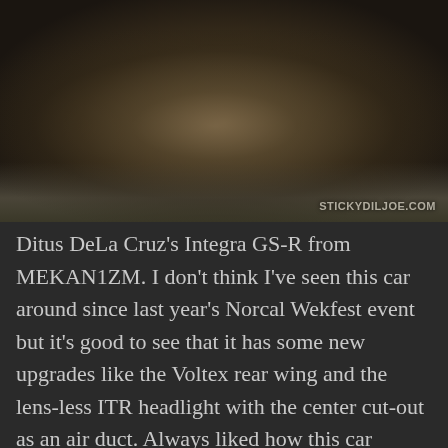[Figure (photo): A brown/dark bronze modified Honda Integra GS-R (DC2 generation) shot at what appears to be an indoor car show. The car has black aftermarket wheels, lowered stance, and body kit. Other cars are visible in the background on a concrete floor. Watermark reads STICKYDILJOE.COM in the bottom right corner.]
Ditus DeLa Cruz's Integra GS-R from MEKAN1ZM. I don't think I've seen this car around since last year's Norcal Wekfest event but it's good to see that it has some new upgrades like the Voltex rear wing and the lens-less ITR headlight with the center cut-out as an air duct. Always liked how this car looked and liked how people kept it Well-Done